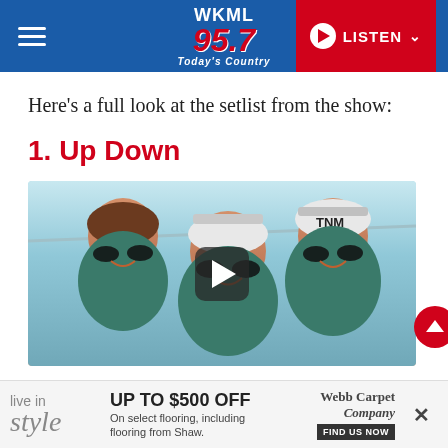WKML 95.7 Today's Country — LISTEN
Here's a full look at the setlist from the show:
1. Up Down
[Figure (photo): Video thumbnail showing three young men smiling, wearing caps and sunglasses, with a video play button overlay. A red scroll-up button is visible at the lower right.]
[Figure (infographic): Advertisement banner: 'live in style — UP TO $500 OFF On select flooring, including flooring from Shaw. — Webb Carpet Company — FIND US NOW' with an X close button.]